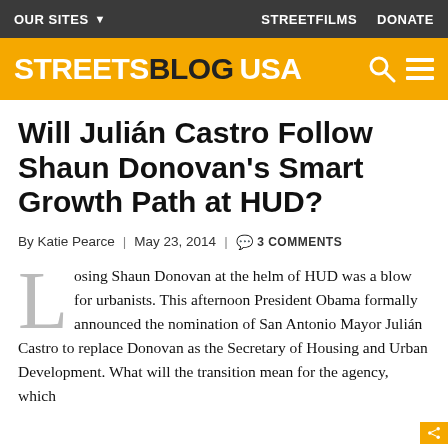OUR SITES  STREETFILMS  DONATE
[Figure (logo): Streetsblog USA logo on yellow/orange background with search and menu icons]
Will Julián Castro Follow Shaun Donovan's Smart Growth Path at HUD?
By Katie Pearce | May 23, 2014 | 3 COMMENTS
Losing Shaun Donovan at the helm of HUD was a blow for urbanists. This afternoon President Obama formally announced the nomination of San Antonio Mayor Julián Castro to replace Donovan as the Secretary of Housing and Urban Development. What will the transition mean for the agency, which under Donovan had...